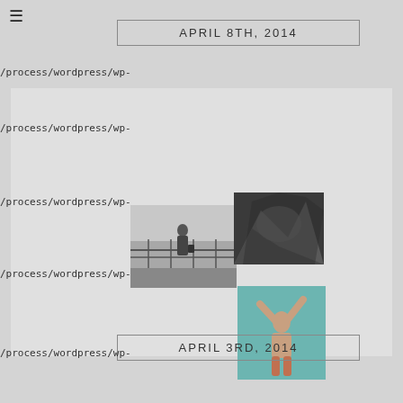≡
APRIL 8TH, 2014
/process/wordpress/wp-
[Figure (photo): Gallery block with three photographs: a person on a bridge/railing (black and white), a cave or rocky landscape (black and white), and a figure with arms raised (color, teal/green tint)]
/process/wordpress/wp-
/process/wordpress/wp-
/process/wordpress/wp-
APRIL 3RD, 2014
/process/wordpress/wp-